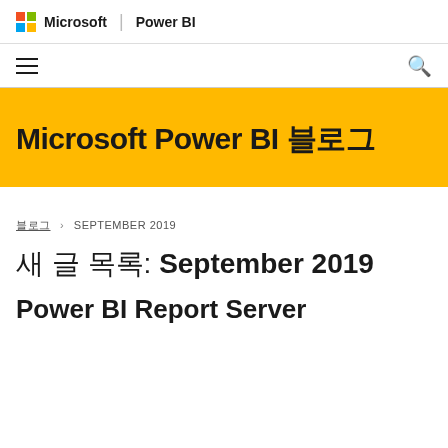Microsoft | Power BI
[Figure (logo): Microsoft logo (four colored squares) followed by 'Microsoft | Power BI' text]
[Figure (other): Navigation bar with hamburger menu icon on left and search icon on right]
Microsoft Power BI 블로그
블로그 › SEPTEMBER 2019
새 글 목록: September 2019
Power BI Report Server